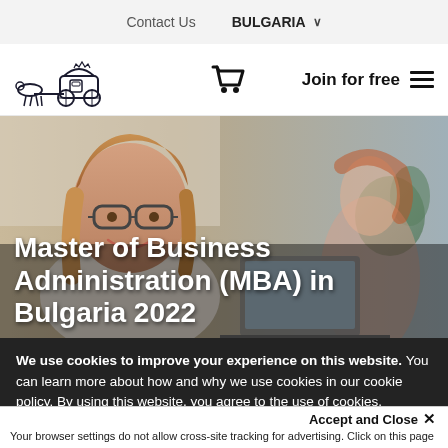Contact Us  BULGARIA
[Figure (logo): Carriage with horses logo]
[Figure (other): Shopping cart icon]
Join for free
[Figure (photo): Woman with glasses smiling at camera in office setting, another person in background]
Master of Business Administration (MBA) in Bulgaria 2022
We use cookies to improve your experience on this website. You can learn more about how and why we use cookies in our cookie policy. By using this website, you agree to the use of cookies.
Accept and Close ×
Your browser settings do not allow cross-site tracking for advertising. Click on this page to allow AdRoll to use cross-site tracking to tailor ads to you. Learn more or opt out of this AdRoll tracking by clicking here. This message only appears once.